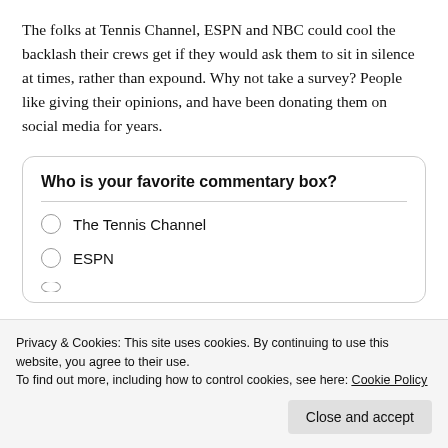The folks at Tennis Channel, ESPN and NBC could cool the backlash their crews get if they would ask them to sit in silence at times, rather than expound. Why not take a survey? People like giving their opinions, and have been donating them on social media for years.
Who is your favorite commentary box?
The Tennis Channel
ESPN
Privacy & Cookies: This site uses cookies. By continuing to use this website, you agree to their use.
To find out more, including how to control cookies, see here: Cookie Policy